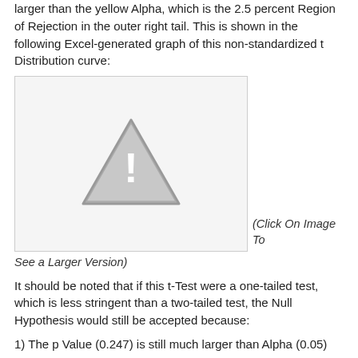larger than the yellow Alpha, which is the 2.5 percent Region of Rejection in the outer right tail. This is shown in the following Excel-generated graph of this non-standardized t Distribution curve:
[Figure (illustration): Placeholder image (broken/missing image icon) representing an Excel-generated non-standardized t Distribution curve graph.]
(Click On Image To See a Larger Version)
It should be noted that if this t-Test were a one-tailed test, which is less stringent than a two-tailed test, the Null Hypothesis would still be accepted because:
1) The p Value (0.247) is still much larger than Alpha (0.05)
2) x_bar₁-x_bar₂ (4.31) is still in the Region of Acceptance,